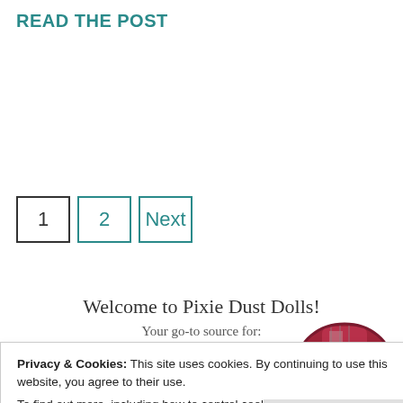READ THE POST
1  2  Next
Welcome to Pixie Dust Dolls!
Your go-to source for:
[Figure (photo): Partial view of a doll with red/maroon coloring]
Privacy & Cookies: This site uses cookies. By continuing to use this website, you agree to their use.
To find out more, including how to control cookies, see here: Cookie Policy
Close and accept
Adventures in